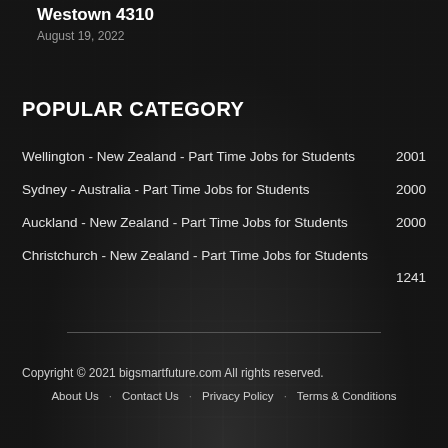Westown 4310
August 19, 2022
POPULAR CATEGORY
Wellington - New Zealand - Part Time Jobs for Students  2001
Sydney - Australia - Part Time Jobs for Students  2000
Auckland - New Zealand - Part Time Jobs for Students  2000
Christchurch - New Zealand - Part Time Jobs for Students  1241
Copyright © 2021 bigsmartfuture.com All rights reserved.
About Us  Contact Us  Privacy Policy  Terms & Conditions